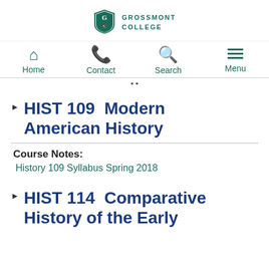[Figure (logo): Grossmont College shield logo with teal color]
GROSSMONT COLLEGE
Home | Contact | Search | Menu
HIST 109  Modern American History
Course Notes:
History 109 Syllabus Spring 2018
HIST 114  Comparative History of the Early